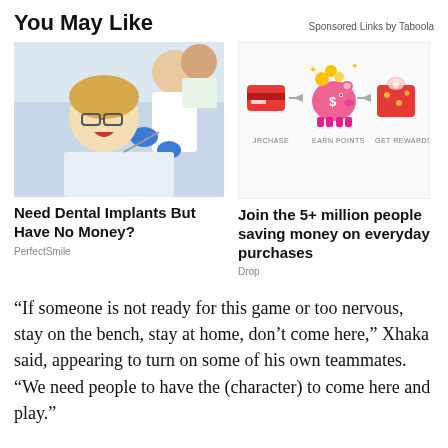You May Like
Sponsored Links by Taboola
[Figure (photo): Dental patient smiling in chair while dentist works]
Need Dental Implants But Have No Money?
PerfectSmile
[Figure (illustration): Rewards program infographic showing: Purchase (credit card) → Earn Points (piggy bank with coins) → Get Rewards (gift bag)]
Join the 5+ million people saving money on everyday purchases
Drop
“If someone is not ready for this game or too nervous, stay on the bench, stay at home, don’t come here,” Xhaka said, appearing to turn on some of his own teammates. “We need people to have the (character) to come here and play.”